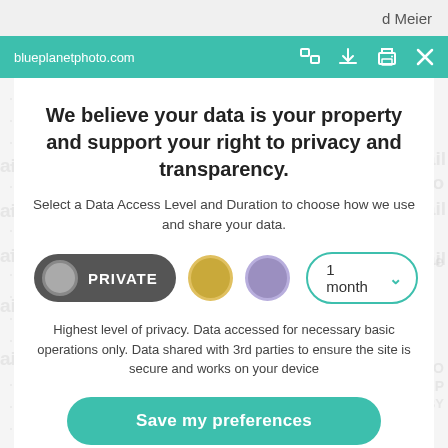d Meier
blueplanetphoto.com
We believe your data is your property and support your right to privacy and transparency.
Select a Data Access Level and Duration to choose how we use and share your data.
[Figure (infographic): Privacy level selector row with: PRIVATE button (dark grey pill with grey circle icon), gold circle button, purple circle button, and '1 month' dropdown selector with teal border and chevron]
Highest level of privacy. Data accessed for necessary basic operations only. Data shared with 3rd parties to ensure the site is secure and works on your device
Save my preferences
Customize
Privacy policy